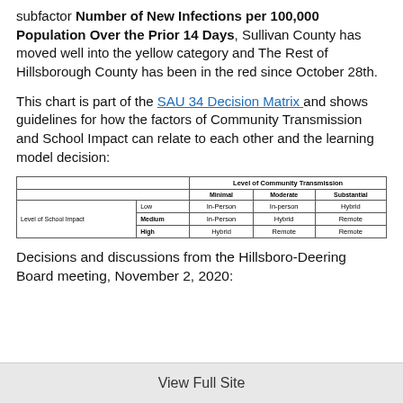subfactor Number of New Infections per 100,000 Population Over the Prior 14 Days, Sullivan County has moved well into the yellow category and The Rest of Hillsborough County has been in the red since October 28th.
This chart is part of the SAU 34 Decision Matrix and shows guidelines for how the factors of Community Transmission and School Impact can relate to each other and the learning model decision:
|  |  | Level of Community Transmission |  |  |
| --- | --- | --- | --- | --- |
|  |  | Minimal | Moderate | Substantial |
| Level of School Impact | Low | In-Person | In-person | Hybrid |
|  | Medium | In-Person | Hybrid | Remote |
|  | High | Hybrid | Remote | Remote |
Decisions and discussions from the Hillsboro-Deering Board meeting, November 2, 2020:
View Full Site